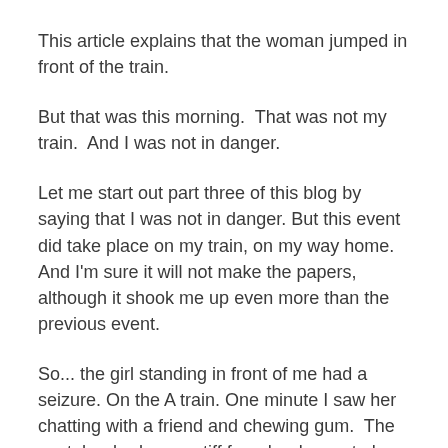This article explains that the woman jumped in front of the train.
But that was this morning.  That was not my train.  And I was not in danger.
Let me start out part three of this blog by saying that I was not in danger. But this event did take place on my train, on my way home.  And I'm sure it will not make the papers, although it shook me up even more than the previous event.
So... the girl standing in front of me had a seizure. On the A train. One minute I saw her chatting with a friend and chewing gum.  The next, her body was stiff from her knees to her neck, she had fallen into the arms of her